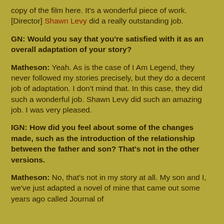copy of the film here. It's a wonderful piece of work. [Director] Shawn Levy did a really outstanding job.
GN: Would you say that you're satisfied with it as an overall adaptation of your story?
Matheson: Yeah. As is the case of I Am Legend, they never followed my stories precisely, but they do a decent job of adaptation. I don't mind that. In this case, they did such a wonderful job. Shawn Levy did such an amazing job. I was very pleased.
IGN: How did you feel about some of the changes made, such as the introduction of the relationship between the father and son? That's not in the other versions.
Matheson: No, that's not in my story at all. My son and I, we've just adapted a novel of mine that came out some years ago called Journal of